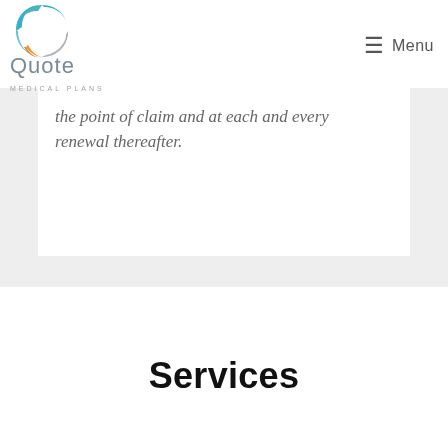Quote Medical Plans | Menu
the point of claim and at each and every renewal thereafter.
Services